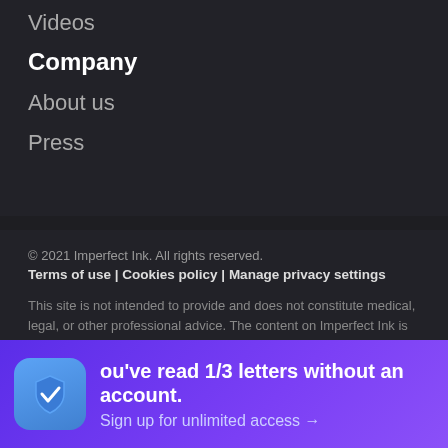Videos
Company
About us
Press
© 2021 Imperfect Ink. All rights reserved.
Terms of use | Cookies policy | Manage privacy settings
This site is not intended to provide and does not constitute medical, legal, or other professional advice. The content on Imperfect Ink is designed to support, not replace, medical or psychiatric treatment. Please seek professional care if you believe you may have a condition. Before using the site, please read our Privacy Policy and Terms of Use.
You've read 1/3 letters without an account. Sign up for unlimited access →